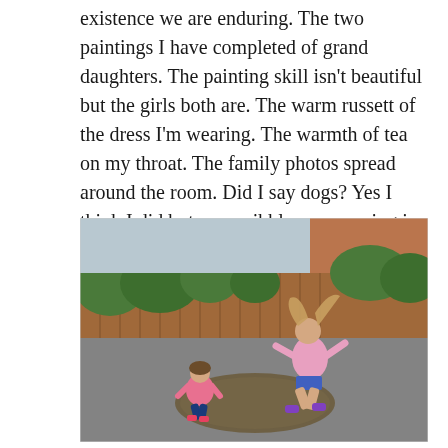existence we are enduring. The two paintings I have completed of grand daughters. The painting skill isn't beautiful but the girls both are. The warm russett of the dress I'm wearing. The warmth of tea on my throat. The family photos spread around the room. Did I say dogs? Yes I think I did but my scribbles are running in to each other as my mind hurtles along listing the beauty in my life.
[Figure (photo): Two young girls in pink jackets and wellies playing near a muddy puddle in a gravelled area. One girl crouches near the puddle while the other runs/jumps energetically. A wooden fence, brick building, and green shrubs are in the background.]